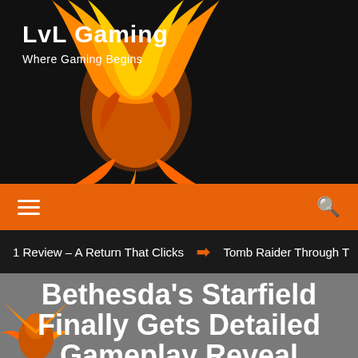Lvl Gaming – Where Gaming Begins
[Figure (illustration): Orange and yellow flaming phoenix illustration in the header area, partially overlapping with logo text]
hamburger menu icon and search icon on orange navigation bar
1 Review – A Return That Clicks  ➡  Tomb Raider Through T
Bethesda's Starfield Finally Gets Detailed Gameplay Reveal